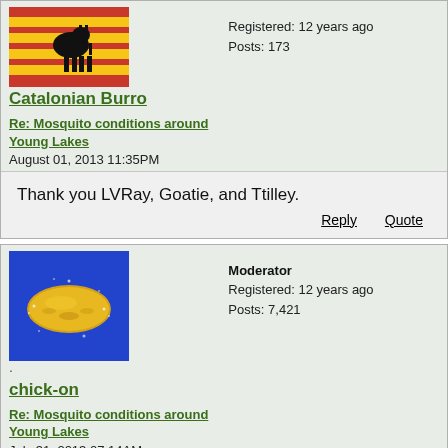[Figure (photo): Avatar image of Catalonian Burro - striped background with black donkey silhouette]
Catalonian Burro
Registered: 12 years ago
Posts: 173
Re: Mosquito conditions around Young Lakes
August 01, 2013 11:35PM
Thank you LVRay, Goatie, and Ttilley.
Reply   Quote
[Figure (photo): Avatar image of chick-on - golden chicken nugget on blue background]
chick-on
Moderator
Registered: 12 years ago
Posts: 7,421
Re: Mosquito conditions around Young Lakes
July 31, 2013 07:14AM
Donk,
I forgot to tell you that had been in TM to Twin Bridges and back and
didn't see a single mosquito. However that doesn't